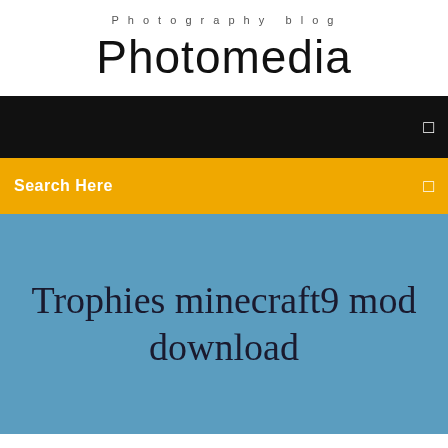Photography blog
Photomedia
[Figure (screenshot): Black navigation bar with a small white icon on the right]
[Figure (screenshot): Golden/amber search bar with 'Search Here' text on the left and a small icon on the right]
Trophies minecraft9 mod download